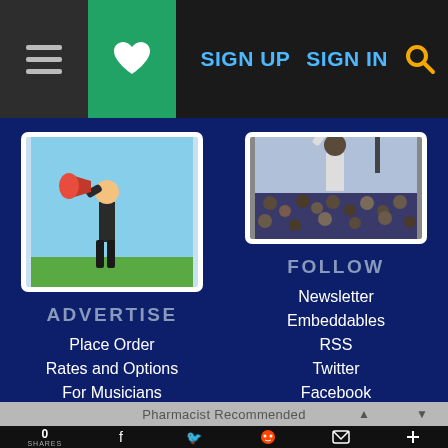SIGN UP  SIGN IN
[Figure (illustration): Man in suit shouting through a red megaphone outdoors on green grass against blue sky]
ADVERTISE
Place Order
Rates and Options
For Musicians
[Figure (photo): Performer on stage with arms raised holding trombone above a large crowd at an outdoor concert]
FOLLOW
Newsletter
Embeddables
RSS
Twitter
Facebook
0 SHARES  Pharmacist Recommended